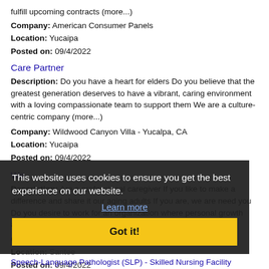fulfill upcoming contracts (more...)
Company: American Consumer Panels
Location: Yucaipa
Posted on: 09/4/2022
Care Partner
Description: Do you have a heart for elders Do you believe that the greatest generation deserves to have a vibrant, caring environment with a loving compassionate team to support them We are a culture-centric company (more...)
Company: Wildwood Canyon Villa - Yucalpa, CA
Location: Yucaipa
Posted on: 09/4/2022
We...
Description: Are a professional caregiver If you like to make a difference and share it our aging adults If you are, we are need you Do you desire to work for an organization where personal growth and development (more...)
Company: Home Instead
Location: Santee
Posted on: 09/4/2022
This website uses cookies to ensure you get the best experience on our website.
Learn more
Got it!
Speech-Language Pathologist (SLP) - Skilled Nursing Facility